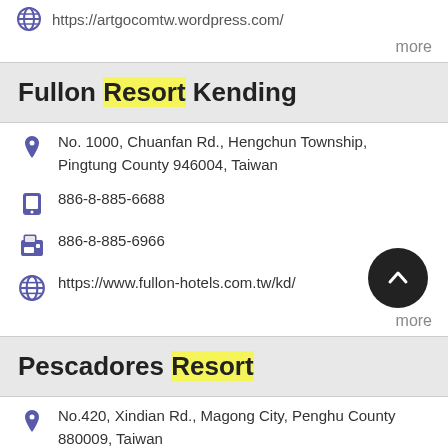https://artgocomtw.wordpress.com/
more
Fullon Resort Kending
No. 1000, Chuanfan Rd., Hengchun Township, Pingtung County 946004, Taiwan
886-8-885-6688
886-8-885-6966
https://www.fullon-hotels.com.tw/kd/
more
Pescadores Resort
No.420, Xindian Rd., Magong City, Penghu County 880009, Taiwan
(06)921-9399
(06)921-6566
http://www.pescadoresresort.com/